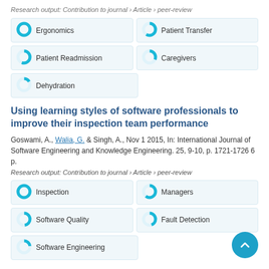Research output: Contribution to journal › Article › peer-review
[Figure (infographic): Five keyword pills with donut chart icons: Ergonomics (full), Patient Transfer (half), Patient Readmission (half), Caregivers (small), Dehydration (small)]
Using learning styles of software professionals to improve their inspection team performance
Goswami, A., Walia, G. & Singh, A., Nov 1 2015, In: International Journal of Software Engineering and Knowledge Engineering. 25, 9-10, p. 1721-1726 6 p.
Research output: Contribution to journal › Article › peer-review
[Figure (infographic): Five keyword pills with donut chart icons: Inspection (full), Managers (half), Software Quality (partial), Fault Detection (partial), Software Engineering (small)]